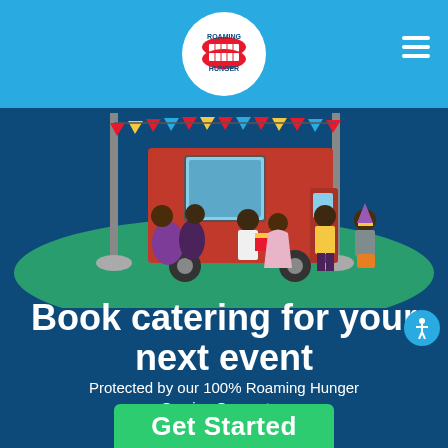Roaming Hunger
[Figure (illustration): Illustrated scene of people gathered around a red food truck decorated with colorful bunting flags on a teal/green grass area against a dark blue background.]
Book catering for your next event
Protected by our 100% Roaming Hunger Service Guarantee
[Figure (other): Green 'Get Started' button partially visible at the bottom of the page]